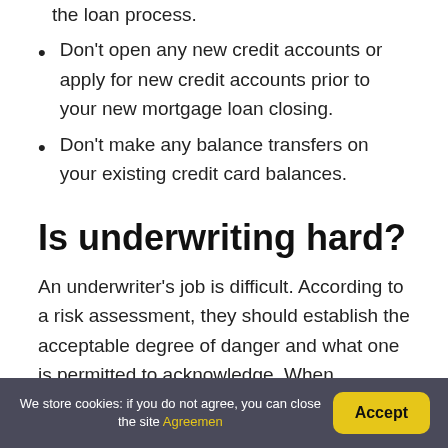the loan process.
Don't open any new credit accounts or apply for new credit accounts prior to your new mortgage loan closing.
Don't make any balance transfers on your existing credit card balances.
Is underwriting hard?
An underwriter's job is difficult. According to a risk assessment, they should establish the acceptable degree of danger and what one is permitted to acknowledge. When evaluating complicated